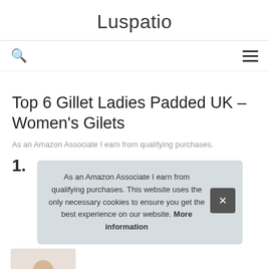Luspatio
Top 6 Gillet Ladies Padded UK – Women's Gilets
As an Amazon Associate I earn from qualifying purchases.
1.
As an Amazon Associate I earn from qualifying purchases. This website uses the only necessary cookies to ensure you get the best experience on our website. More information
[Figure (photo): Partial view of a person (head visible) below the cookie consent overlay]